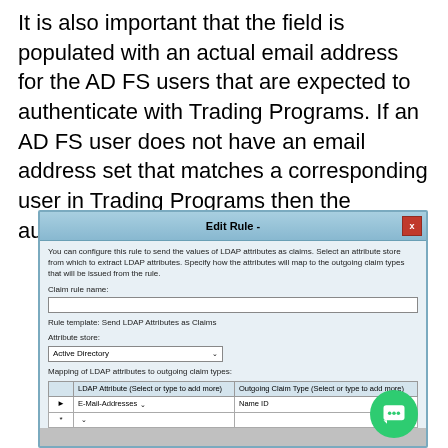It is also important that the field is populated with an actual email address for the AD FS users that are expected to authenticate with Trading Programs. If an AD FS user does not have an email address set that matches a corresponding user in Trading Programs then the authentication will fail.
[Figure (screenshot): Edit Rule dialog box showing LDAP attribute configuration. Contains a description text, Claim rule name input field, Rule template label showing 'Send LDAP Attributes as Claims', Attribute store dropdown showing 'Active Directory', and a mapping table with columns 'LDAP Attribute (Select or type to add more)' and 'Outgoing Claim Type (Select or type to add more)' with a row showing E-Mail-Addresses mapped to Name ID.]